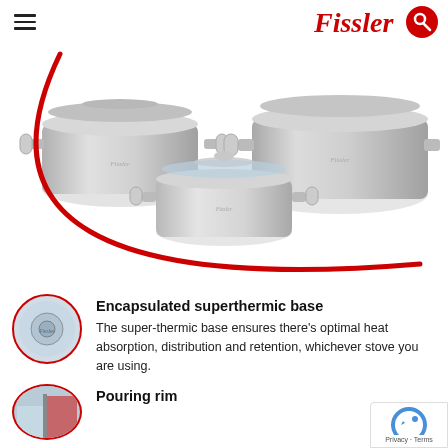[Figure (logo): Fissler brand logo in red script font with red circle search icon]
[Figure (photo): Three stainless steel Fissler pots of varying sizes with lids and a red curved arc design element]
Encapsulated superthermic base
The super-thermic base ensures there's optimal heat absorption, distribution and retention, whichever stove you are using.
Pouring rim